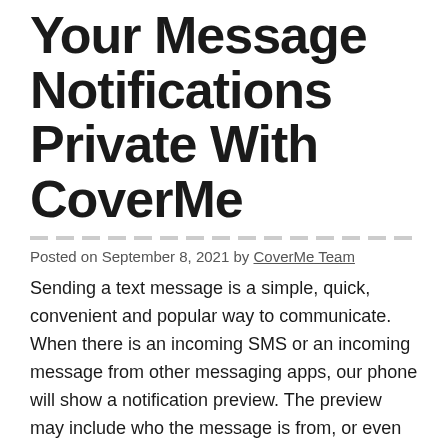Your Message Notifications Private With CoverMe
Posted on September 8, 2021 by CoverMe Team
Sending a text message is a simple, quick, convenient and popular way to communicate. When there is an incoming SMS or an incoming message from other messaging apps, our phone will show a notification preview. The preview may include who the message is from, or even some details of the messages. The